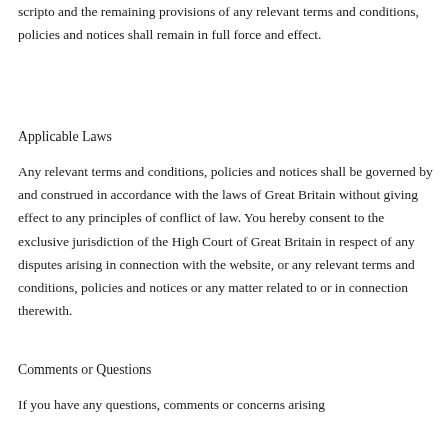scripto and the remaining provisions of any relevant terms and conditions, policies and notices shall remain in full force and effect.
Applicable Laws
Any relevant terms and conditions, policies and notices shall be governed by and construed in accordance with the laws of Great Britain without giving effect to any principles of conflict of law. You hereby consent to the exclusive jurisdiction of the High Court of Great Britain in respect of any disputes arising in connection with the website, or any relevant terms and conditions, policies and notices or any matter related to or in connection therewith.
Comments or Questions
If you have any questions, comments or concerns arising